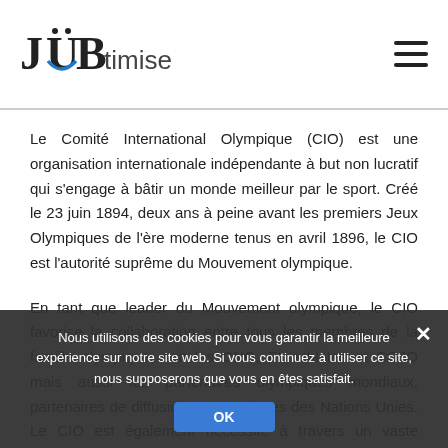[Figure (logo): JOBtimise logo with stylized J, O with dots, B letters and 'timise' text]
Le Comité International Olympique (CIO) est une organisation internationale indépendante à but non lucratif qui s'engage à bâtir un monde meilleur par le sport. Créé le 23 juin 1894, deux ans à peine avant les premiers Jeux Olympiques de l'ère moderne tenus en avril 1896, le CIO est l'autorité suprême du Mouvement olympique.
En tant que leader du Mouvement olympique, le CIO favorise la collaboration entre tous les membres de la famille olympique, soit les CNO, FI, athlètes et COJO mais aussi les partenaires olympiques mondiaux, partenaires de diffusion et organismes des Nations Unies. Le CIO est également nécessité à travers un vaste éventail de programmes et projets. Investi de cette mission, le CIO assure la tenue régulière des Jeux Olympiques, apporte son soutien à toutes les organisations membres du Mouvement olympique et encourage fortement,
Nous utilisons des cookies pour vous garantir la meilleure expérience sur notre site web. Si vous continuez à utiliser ce site, nous supposerons que vous en êtes satisfait.